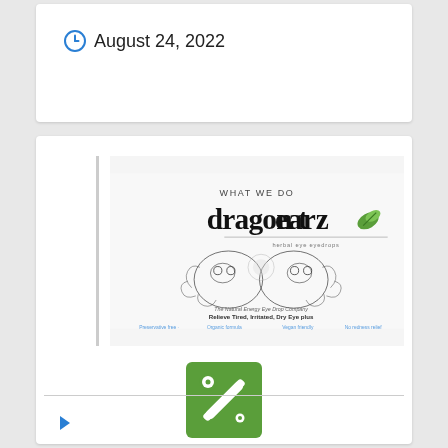August 24, 2022
[Figure (illustration): Dragon Tearz brand logo/advertisement showing stylized dragon face artwork with text 'WHAT WE DO dragon tearz' and subtitle text about eye drops, with product category links at the bottom]
[Figure (illustration): Green square icon with white crossed wrench/screwdriver tools symbol]
HAVE MORE ENERGY NOW!